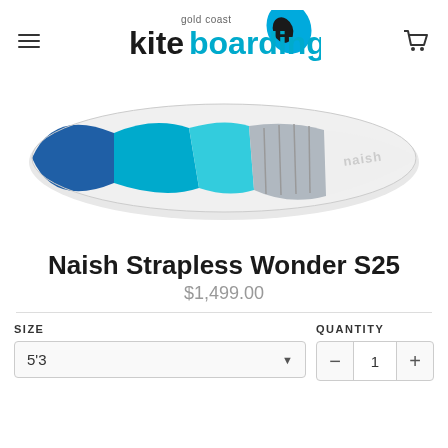Gold Coast Kiteboarding — navigation header with logo and cart icon
[Figure (photo): Naish kiteboard surfboard top-down view, white with blue and teal color sections and grey traction pad, surfboard shape, shown on white background]
Naish Strapless Wonder S25
$1,499.00
SIZE: 5'3    QUANTITY: 1